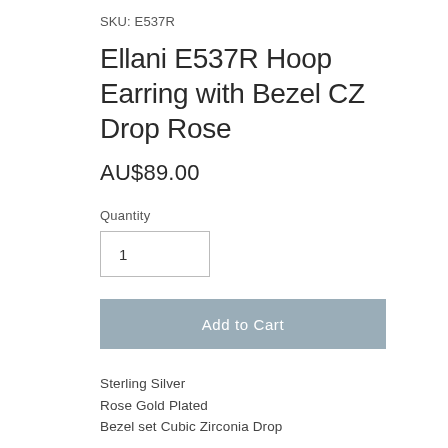SKU: E537R
Ellani E537R Hoop Earring with Bezel CZ Drop Rose
AU$89.00
Quantity
1
Add to Cart
Sterling Silver
Rose Gold Plated
Bezel set Cubic Zirconia Drop